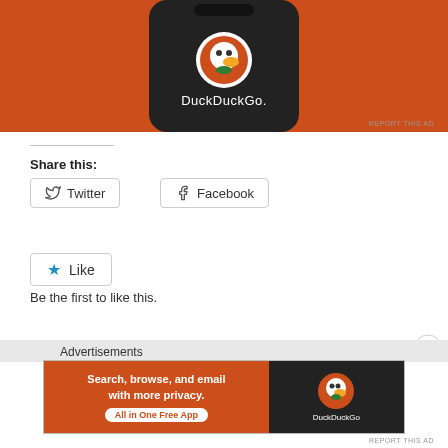[Figure (screenshot): DuckDuckGo mobile app advertisement showing the app icon on a phone mockup with orange background]
REPORT THIS AD
Share this:
[Figure (infographic): Twitter share button]
[Figure (infographic): Facebook share button]
[Figure (infographic): Like button with star icon]
Be the first to like this.
Advertisements
[Figure (advertisement): DuckDuckGo ad banner: Search, browse, and email with more privacy. All in One Free App]
REPORT THIS AD